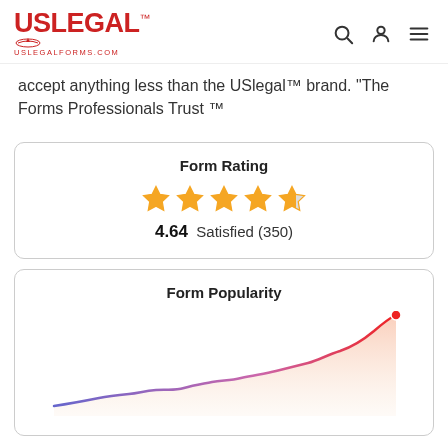[Figure (logo): USLegal logo with eagle and uslegalforms.com text]
accept anything less than the USlegal™ brand. "The Forms Professionals Trust ™
[Figure (infographic): Form Rating card showing 4.64 stars (4 full stars and 1 half star), Satisfied (350)]
[Figure (line-chart): Form Popularity line chart showing upward trend with gradient area fill, line goes from lower left to upper right with a red endpoint dot]